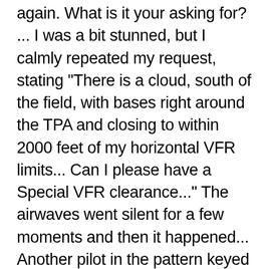again.  What is it your asking for?  ...  I was a bit stunned, but I calmly repeated my request, stating  "There is a cloud, south of the field, with bases right around the TPA and closing to within 2000 feet of my horizontal VFR limits...  Can I please have a Special VFR clearance..."   The airwaves went silent for a few moments and then it happened... Another pilot in the pattern keyed up and stated "Your are in the pattern, you don't need one..."    What?  Was I taught wrong?  SVFR seemed obvious to me!  But, a moment later, the magic clearance came in... "Cessna [1234], Special VFR clearance in effect in the vicinity of Ramona Airport.  Maintain Special VFR at or below 3,3000 feet..."   I quickly acknowledged my clearance